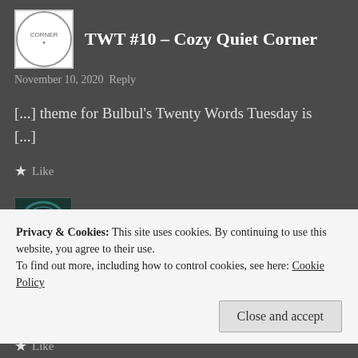TWT #10 – Cozy Quiet Corner
November 10, 2020 Reply
[...] theme for Bulbul's Twenty Words Tuesday is [...]
★ Like
First Love Yourself ~ #FLY – CrazyNerds
Privacy & Cookies: This site uses cookies. By continuing to use this website, you agree to their use. To find out more, including how to control cookies, see here: Cookie Policy
Close and accept
★ Like